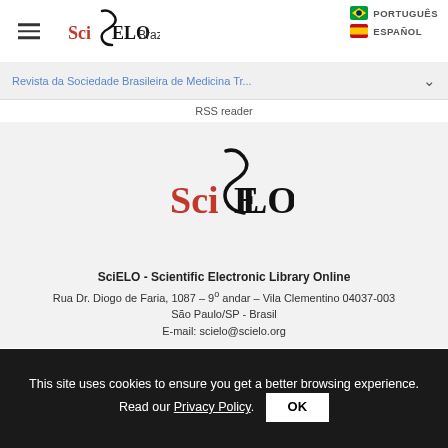SciELO Brazil | PORTUGUÊS | ESPAÑOL
Revista da Sociedade Brasileira de Medicina Tr...
RSS reader
[Figure (logo): SciELO logo — large italic calligraphic mark with red 'Sci', black 'ELO']
SciELO - Scientific Electronic Library Online
Rua Dr. Diogo de Faria, 1087 – 9º andar – Vila Clementino 04037-003
São Paulo/SP - Brasil
E-mail: scielo@scielo.org
This site uses cookies to ensure you get a better browsing experience. Read our Privacy Policy.